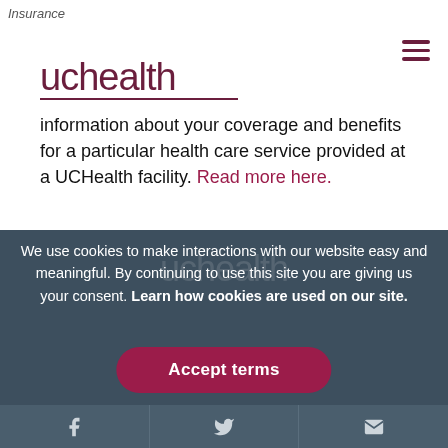Insurance
[Figure (logo): UCHealth logo with dark red text and underline, plus hamburger menu icon on the right]
information about your coverage and benefits for a particular health care service provided at a UCHealth facility. Read more here.
We use cookies to make interactions with our website easy and meaningful. By continuing to use this site you are giving us your consent. Learn how cookies are used on our site.
Accept terms